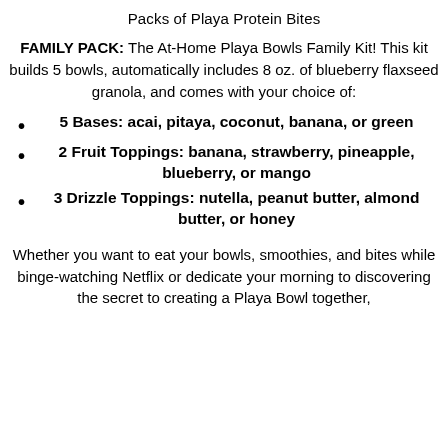Packs of Playa Protein Bites
FAMILY PACK: The At-Home Playa Bowls Family Kit! This kit builds 5 bowls, automatically includes 8 oz. of blueberry flaxseed granola, and comes with your choice of:
5 Bases: acai, pitaya, coconut, banana, or green
2 Fruit Toppings: banana, strawberry, pineapple, blueberry, or mango
3 Drizzle Toppings: nutella, peanut butter, almond butter, or honey
Whether you want to eat your bowls, smoothies, and bites while binge-watching Netflix or dedicate your morning to discovering the secret to creating a Playa Bowl together,